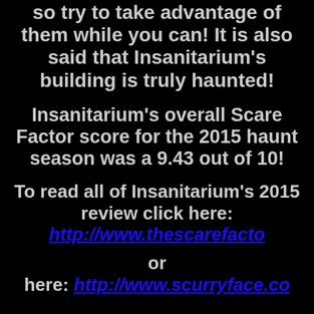so try to take advantage of them while you can! It is also said that Insanitarium's building is truly haunted!
Insanitarium's overall Scare Factor score for the 2015 haunt season was a 9.43 out of 10!
To read all of Insanitarium's 2015 review click here: http://www.thescarefactor.com
or here: http://www.scurryface.com